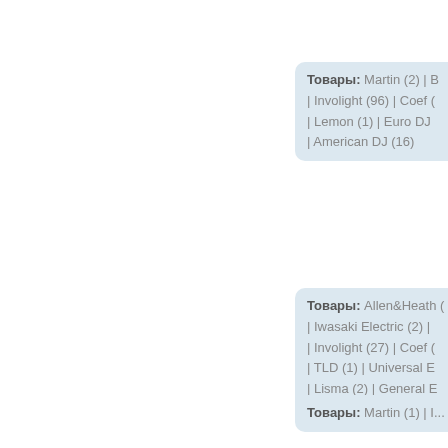Товары: Martin (2) | B... | Involight (96) | Coef (... | Lemon (1) | Euro DJ... | American DJ (16)
Товары: Allen&Heath (... | Iwasaki Electric (2) | ... | Involight (27) | Coef (... | TLD (1) | Universal E... | Lisma (2) | General E... | KAM (1) | Xinya (1)
Товары: Martin (1) | I...